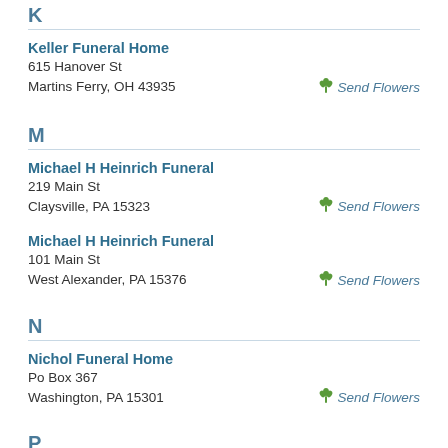K
Keller Funeral Home
615 Hanover St
Martins Ferry, OH 43935
M
Michael H Heinrich Funeral
219 Main St
Claysville, PA 15323
Michael H Heinrich Funeral
101 Main St
West Alexander, PA 15376
N
Nichol Funeral Home
Po Box 367
Washington, PA 15301
P
Piatt & Barnhill Funeral Incorporated